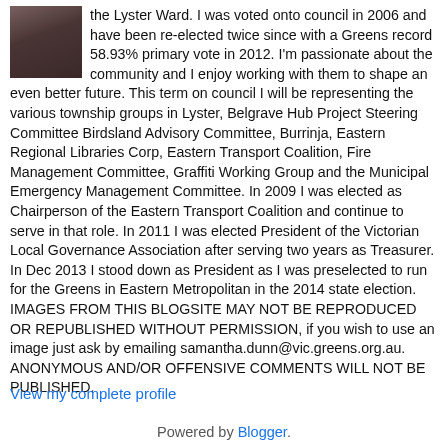[Figure (photo): Small portrait photo of a person, appearing in top-left corner of the bio section]
the Lyster Ward. I was voted onto council in 2006 and have been re-elected twice since with a Greens record 58.93% primary vote in 2012. I'm passionate about the community and I enjoy working with them to shape an even better future. This term on council I will be representing the various township groups in Lyster, Belgrave Hub Project Steering Committee Birdsland Advisory Committee, Burrinja, Eastern Regional Libraries Corp, Eastern Transport Coalition, Fire Management Committee, Graffiti Working Group and the Municipal Emergency Management Committee. In 2009 I was elected as Chairperson of the Eastern Transport Coalition and continue to serve in that role. In 2011 I was elected President of the Victorian Local Governance Association after serving two years as Treasurer. In Dec 2013 I stood down as President as I was preselected to run for the Greens in Eastern Metropolitan in the 2014 state election. IMAGES FROM THIS BLOGSITE MAY NOT BE REPRODUCED OR REPUBLISHED WITHOUT PERMISSION, if you wish to use an image just ask by emailing samantha.dunn@vic.greens.org.au. ANONYMOUS AND/OR OFFENSIVE COMMENTS WILL NOT BE PUBLISHED.
View my complete profile
Powered by Blogger.